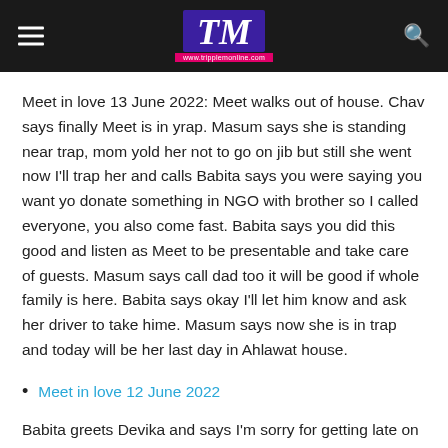TM www.tripplemonline.com
Meet in love 13 June 2022: Meet walks out of house. Chav says finally Meet is in yrap. Masum says she is standing near trap, mom yold her not to go on jib but still she went now I'll trap her and calls Babita says you were saying you want yo donate something in NGO with brother so I called everyone, you also come fast. Babita says you did this good and listen as Meet to be presentable and take care of guests. Masum says call dad too it will be good if whole family is here. Babita says okay I'll let him know and ask her driver to take hime. Masum says now she is in trap and today will be her last day in Ahlawat house.
Meet in love 12 June 2022
Babita greets Devika and says I'm sorry for getting late on